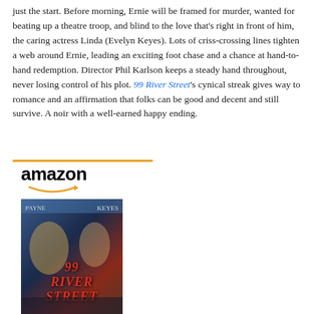just the start. Before morning, Ernie will be framed for murder, wanted for beating up a theatre troop, and blind to the love that's right in front of him, the caring actress Linda (Evelyn Keyes). Lots of criss-crossing lines tighten a web around Ernie, leading an exciting foot chase and a chance at hand-to-hand redemption. Director Phil Karlson keeps a steady hand throughout, never losing control of his plot. 99 River Street's cynical streak gives way to romance and an affirmation that folks can be good and decent and still survive. A noir with a well-earned happy ending.
[Figure (logo): Amazon logo with orange underline bar and arrow swoosh, above a product listing for 99 River Street Blu-ray]
[Figure (photo): Movie cover art for 99 River Street showing film noir style with actors including John Payne and Evelyn Keyes]
99 River Street
$14.33